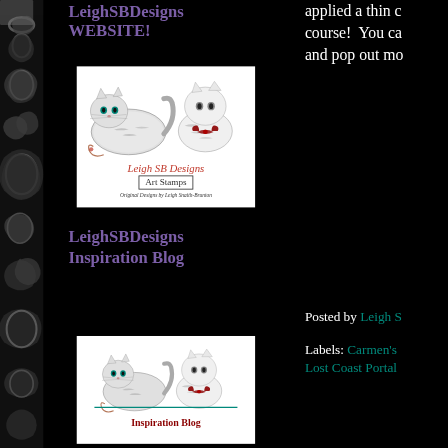[Figure (illustration): Dark decorative floral/scroll pattern border on the left side of the page, gray on black background]
LeighSBDesigns
WEBSITE!
[Figure (logo): LeighSB Designs Art Stamps logo featuring two cats (a realistic tabby cat and a stuffed/toy striped cat with a bow), with cursive text 'Leigh SB Designs Art Stamps' and subtitle 'Original Designs by Leigh Snaith-Brunton']
LeighSBDesigns
Inspiration Blog
applied a thin c
course!  You ca
and pop out mo
Posted by Leigh S
Labels: Carmen's
Lost Coast Portal
[Figure (logo): LeighSB Designs Art Stamps Inspiration Blog logo, same cat image as above with teal horizontal line and text 'Inspiration Blog' in burgundy below]